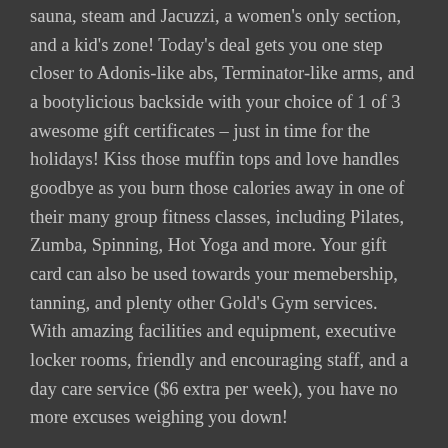sauna, steam and Jacuzzi, a women's only section, and a kid's zone! Today's deal gets you one step closer to Adonis-like abs, Terminator-like arms, and a bootylicious backside with your choice of 1 of 3 awesome gift certificates – just in time for the holidays! Kiss those muffin tops and love handles goodbye as you burn those calories away in one of their many group fitness classes, including Pilates, Zumba, Spinning, Hot Yoga and more. Your gift card can also be used towards your memebership, tanning, and plenty other Gold's Gym services. With amazing facilities and equipment, executive locker rooms, friendly and encouraging staff, and a day care service ($6 extra per week), you have no more excuses weighing you down!
Click here to buy now or for more information about the deal. Don't miss out!